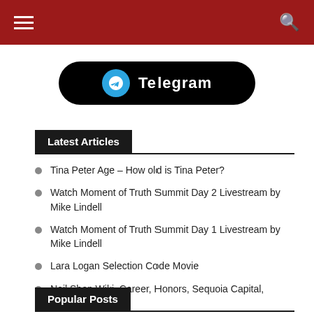Navigation bar with hamburger menu and search icon
[Figure (screenshot): Telegram app banner/button with blue Telegram circle icon and white 'Telegram' text on black rounded rectangle background]
Latest Articles
Tina Peter Age – How old is Tina Peter?
Watch Moment of Truth Summit Day 2 Livestream by Mike Lindell
Watch Moment of Truth Summit Day 1 Livestream by Mike Lindell
Lara Logan Selection Code Movie
Neil Shen Wiki, Career, Honors, Sequoia Capital, Partnerships
Popular Posts